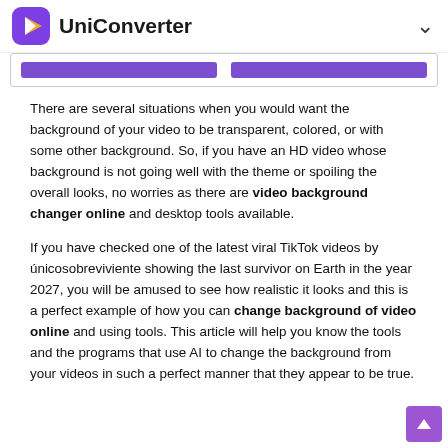UniConverter
[Figure (screenshot): UI bar with two purple buttons]
There are several situations when you would want the background of your video to be transparent, colored, or with some other background. So, if you have an HD video whose background is not going well with the theme or spoiling the overall looks, no worries as there are video background changer online and desktop tools available.
If you have checked one of the latest viral TikTok videos by únicosobreviviente showing the last survivor on Earth in the year 2027, you will be amused to see how realistic it looks and this is a perfect example of how you can change background of video online and using tools. This article will help you know the tools and the programs that use AI to change the background from your videos in such a perfect manner that they appear to be true.